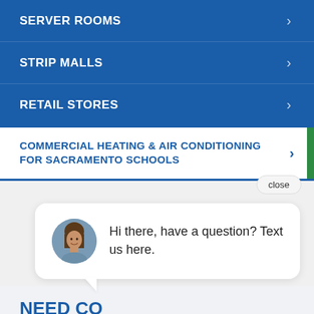SERVER ROOMS
STRIP MALLS
RETAIL STORES
COMMERCIAL HEATING & AIR CONDITIONING FOR SACRAMENTO SCHOOLS
Hi there, have a question? Text us here.
NEED CO... SERVICES?
Contact us at 916-609-2669 send us an email, or fill out our contact form to speak